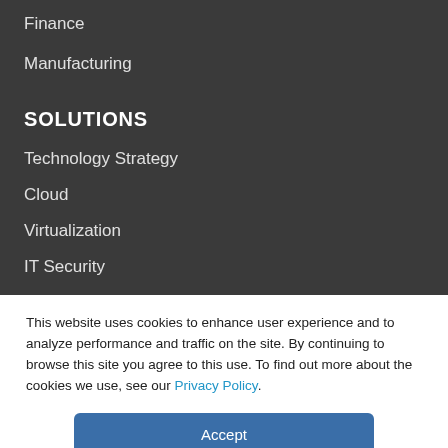Finance
Manufacturing
SOLUTIONS
Technology Strategy
Cloud
Virtualization
IT Security
Data Center
This website uses cookies to enhance user experience and to analyze performance and traffic on the site. By continuing to browse this site you agree to this use. To find out more about the cookies we use, see our Privacy Policy.
Accept